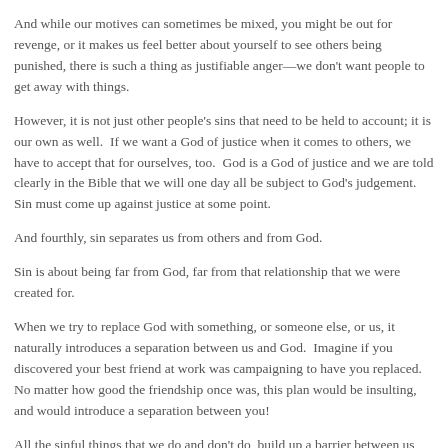And while our motives can sometimes be mixed, you might be out for revenge, or it makes us feel better about yourself to see others being punished, there is such a thing as justifiable anger—we don't want people to get away with things.
However, it is not just other people's sins that need to be held to account; it is our own as well.  If we want a God of justice when it comes to others, we have to accept that for ourselves, too.  God is a God of justice and we are told clearly in the Bible that we will one day all be subject to God's judgement.   Sin must come up against justice at some point.
And fourthly, sin separates us from others and from God.
Sin is about being far from God, far from that relationship that we were created for.
When we try to replace God with something, or someone else, or us, it naturally introduces a separation between us and God.  Imagine if you discovered your best friend at work was campaigning to have you replaced.  No matter how good the friendship once was, this plan would be insulting, and would introduce a separation between you!
All the sinful things that we do and don't do, build up a barrier between us and God and between us and others, and we can do little to remove that barrier ourselves.